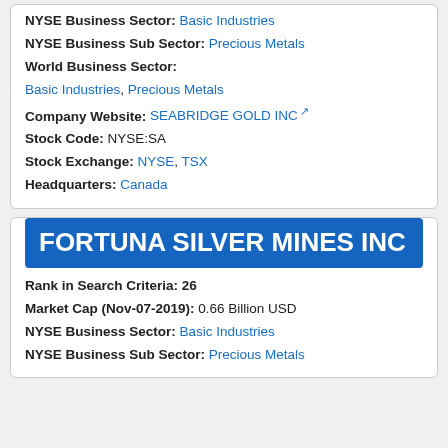NYSE Business Sector: Basic Industries
NYSE Business Sub Sector: Precious Metals
World Business Sector:
Basic Industries, Precious Metals
Company Website: SEABRIDGE GOLD INC
Stock Code: NYSE:SA
Stock Exchange: NYSE, TSX
Headquarters: Canada
FORTUNA SILVER MINES INC
Rank in Search Criteria: 26
Market Cap (Nov-07-2019): 0.66 Billion USD
NYSE Business Sector: Basic Industries
NYSE Business Sub Sector: Precious Metals